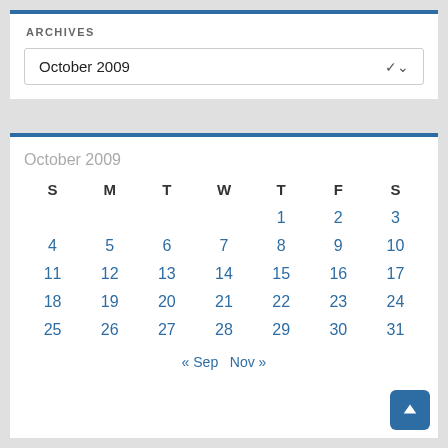ARCHIVES
October 2009
[Figure (other): October 2009 calendar widget showing days 1-31 with navigation links to Sep and Nov]
« Sep  Nov »